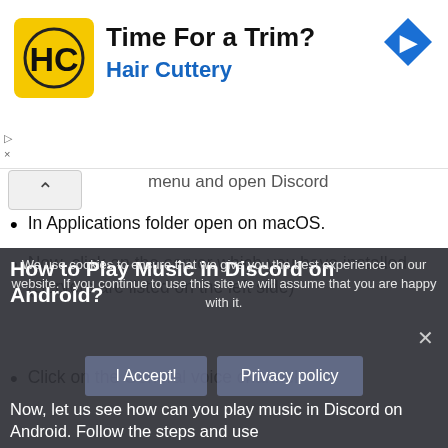[Figure (logo): Hair Cuttery advertisement banner with yellow logo, bold title 'Time For a Trim?', subtitle 'Hair Cuttery', and blue diamond navigation icon]
menu and open Discord
In Applications folder open on macOS.
Now, click on the server which you have installed. (Servers are listed on the left side)
Click on the General voice channel
Type !play <song or artist>and press Enter or Return. ( It will search the song for you)
How to Play Music in Discord on Android?
We use cookies to ensure that we give you the best experience on our website. If you continue to use this site we will assume that you are happy with it.
Now, let us see how can you play music in Discord on Android. Follow the steps and use